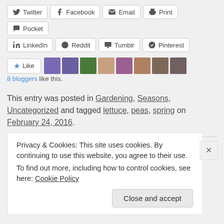[Figure (screenshot): Social share buttons: Twitter, Facebook, Email, Print, Pocket, LinkedIn, Reddit, Tumblr, Pinterest]
[Figure (screenshot): Like button with star icon and 8 blogger avatars]
8 bloggers like this.
This entry was posted in Gardening, Seasons, Uncategorized and tagged lettuce, peas, spring on February 24, 2016.
Privacy & Cookies: This site uses cookies. By continuing to use this website, you agree to their use.
To find out more, including how to control cookies, see here: Cookie Policy
Close and accept